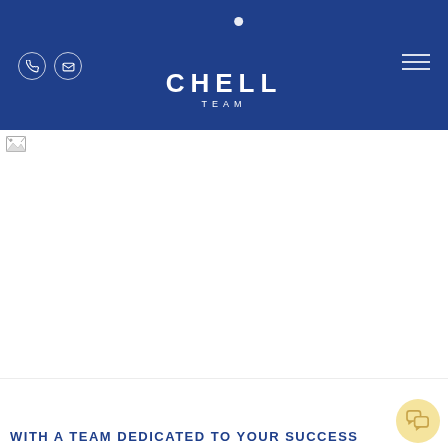CHELL TEAM
[Figure (photo): Large white/blank content area with a broken image placeholder icon in the top-left corner]
WITH A TEAM DEDICATED TO YOUR SUCCESS